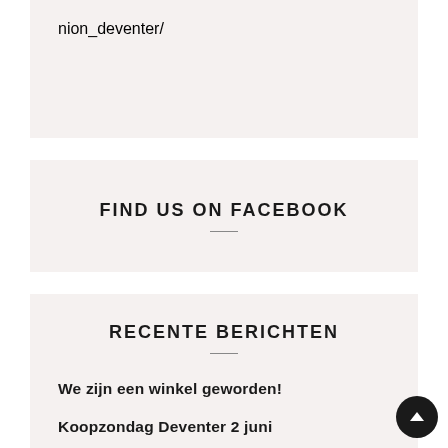nion_deventer/
FIND US ON FACEBOOK
RECENTE BERICHTEN
We zijn een winkel geworden!
Koopzondag Deventer 2 juni
26 mei 2019 Fooddock Havenkwartier